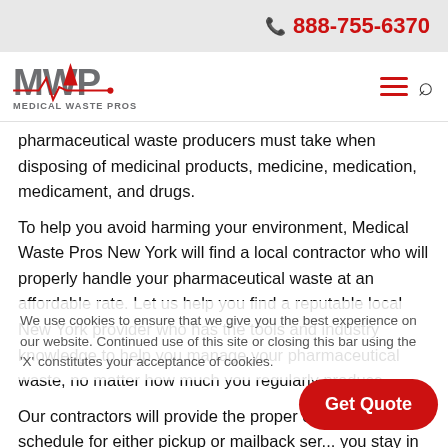☎ 888-755-6370
[Figure (logo): Medical Waste Pros logo with stylized MWP text and red EKG/heartbeat line graphic]
pharmaceutical waste producers must take when disposing of medicinal products, medicine, medication, medicament, and drugs.
To help you avoid harming your environment, Medical Waste Pros New York will find a local contractor who will properly handle your pharmaceutical waste at an affordable rate. Let us help you find a reputable local New York provider who has the tools and industry knowledge to help you manage your pharmaceutical waste, no matter how much you regularly produce.
Our contractors will provide the proper contai... a schedule for either pickup or mailback ser... you stay in compliance with local laws and eliminate the risk
We use cookies to ensure that we give you the best experience on our website. Continued use of this site or closing this bar using the 'X' constitutes your acceptance of cookies.